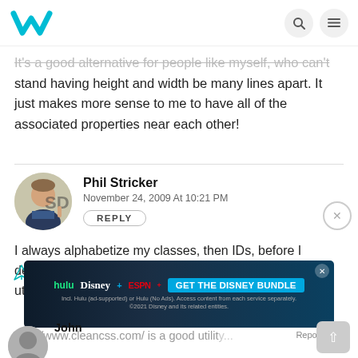Weebly navigation with search and menu icons
It's a good alternative for people like myself, who can't stand having height and width be many lines apart. It just makes more sense to me to have all of the associated properties near each other!
Phil Stricker
November 24, 2009 At 10:21 PM
REPLY
I always alphabetize my classes, then IDs, before I deploy. Also, once a site is ready to be deployed I utilize a CSS optimization tool or compressor.
http://www.cleancss.com/ is a good utility...
[Figure (photo): Advertisement banner for Disney Bundle featuring Hulu, Disney+, and ESPN+ logos with 'GET THE DISNEY BUNDLE' call to action]
Report an ad
John